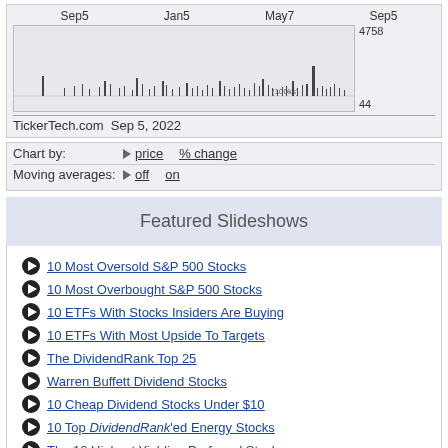[Figure (continuous-plot): Stock price chart showing volume/price history from Sep5 to Sep5, with x-axis labels Sep5, Jan5, May7, Sep5 and y-axis values 4758 and 44. Source: TickerTech.com Sep 5, 2022]
Chart by: ▶ price   % change
Moving averages: ▶ off   on
Featured Slideshows
10 Most Oversold S&P 500 Stocks
10 Most Overbought S&P 500 Stocks
10 ETFs With Stocks Insiders Are Buying
10 ETFs With Most Upside To Targets
The DividendRank Top 25
Warren Buffett Dividend Stocks
10 Cheap Dividend Stocks Under $10
10 Top DividendRank'ed Energy Stocks
The 10 Highest Yielding Preferred Stocks
The 10 Highest Yielding Preferred Stocks
The 15 Most Active S&P Call & Put Options